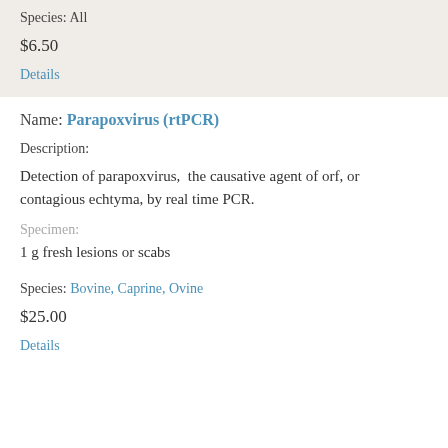Species: All
$6.50
Details
Name: Parapoxvirus (rtPCR)
Description:
Detection of parapoxvirus,  the causative agent of orf, or contagious echtyma, by real time PCR.
Specimen:
1 g fresh lesions or scabs
Species: Bovine, Caprine, Ovine
$25.00
Details